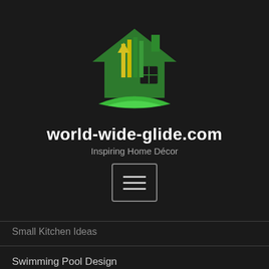[Figure (logo): World-wide-glide.com house logo with green house silhouette, yellow and green vertical bars/arrow, and green swoosh beneath]
world-wide-glide.com
Inspiring Home Décor
[Figure (other): Hamburger menu button with three horizontal lines inside a rounded rectangle border]
Small Kitchen Ideas
Swimming Pool Design
The Handyman
Upgrade Home